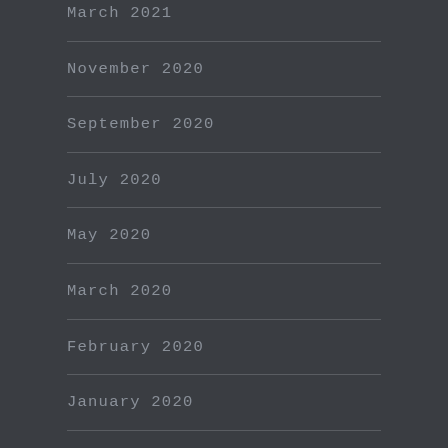March 2021
November 2020
September 2020
July 2020
May 2020
March 2020
February 2020
January 2020
November 2019
September 2019
July 2019
April 2019